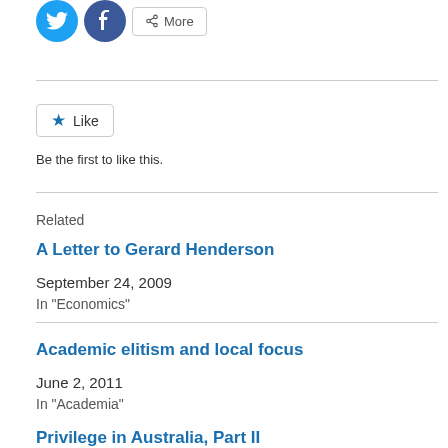[Figure (illustration): Twitter and Facebook social share icon buttons (blue circles with bird and f logos), followed by a More share button]
[Figure (illustration): Like button with blue star icon]
Be the first to like this.
Related
A Letter to Gerard Henderson
September 24, 2009
In "Economics"
Academic elitism and local focus
June 2, 2011
In "Academia"
Privilege in Australia, Part II